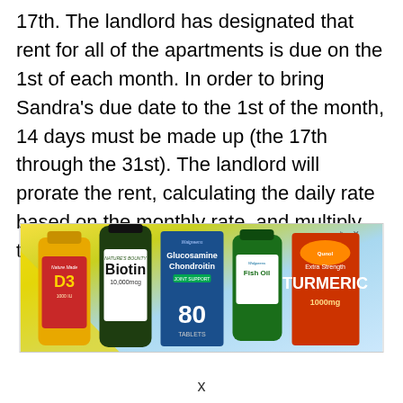17th. The landlord has designated that rent for all of the apartments is due on the 1st of each month. In order to bring Sandra's due date to the 1st of the month, 14 days must be made up (the 17th through the 31st). The landlord will prorate the rent, calculating the daily rate based on the monthly rate, and multiply that by 14 days.
[Figure (photo): Advertisement banner showing various supplement products including Nature Made D3, Nature's Bounty Biotin 10,000mcg, Walgreens Glucosamine Chondroitin, Walgreens Fish Oil, and Qunol Extra Strength Turmeric 1000mg on a light blue and yellow background.]
x